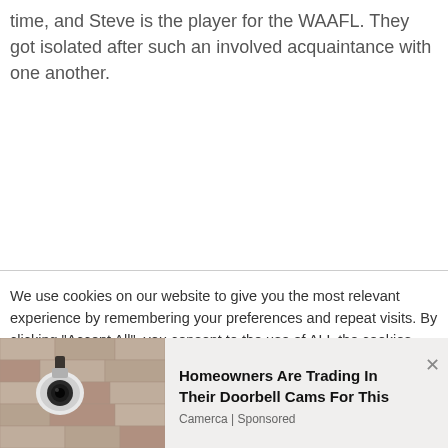time, and Steve is the player for the WAAFL. They got isolated after such an involved acquaintance with one another.
We use cookies on our website to give you the most relevant experience by remembering your preferences and repeat visits. By clicking "Accept All", you consent to the use of ALL the cookies. However, you may visit "Cookie Settings" to provide a controlled consent.
[Figure (photo): Advertisement image showing a security camera mounted on a wall, part of an ad for Camerca doorbell camera replacement product.]
Homeowners Are Trading In Their Doorbell Cams For This
Camerca | Sponsored